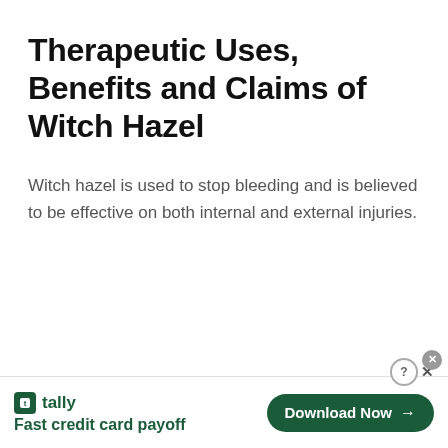Therapeutic Uses, Benefits and Claims of Witch Hazel
Witch hazel is used to stop bleeding and is believed to be effective on both internal and external injuries.
[Figure (other): Tally app advertisement banner with logo, tagline 'Fast credit card payoff', and a green 'Download Now' button with arrow]